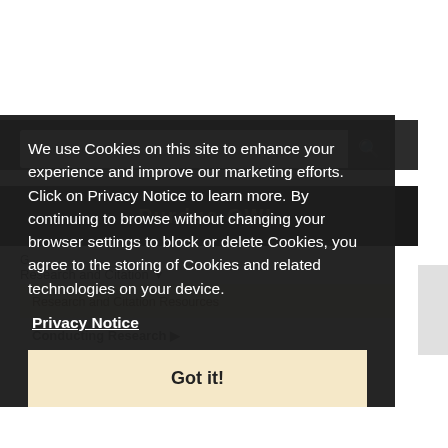Search the OWL
[Figure (screenshot): Purdue OWL logo in gold text on dark background bar]
Research and Citation ▼
Research and Citation Resources
Conducting Research ▶
Using Research ▶
We use Cookies on this site to enhance your experience and improve our marketing efforts. Click on Privacy Notice to learn more. By continuing to browse without changing your browser settings to block or delete Cookies, you agree to the storing of Cookies and related technologies on your device.
Privacy Notice
Got it!